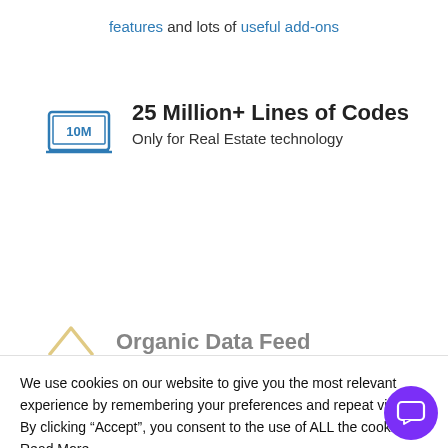features and lots of useful add-ons
[Figure (illustration): Laptop icon with '10M' on screen, in blue outline style]
25 Million+ Lines of Codes
Only for Real Estate technology
[Figure (illustration): Chevron/arrow up icon in gold/yellow outline style representing Organic Data Feed]
Organic Data Feed
We use cookies on our website to give you the most relevant experience by remembering your preferences and repeat visits. By clicking “Accept”, you consent to the use of ALL the cookies. Read More
Cookie settings
ACCEPT
x
[Figure (illustration): Purple circle chat/messaging button in bottom right corner]
[Figure (illustration): Mobile app grid icon in gray outline style]
Top Notch Mobile Apps